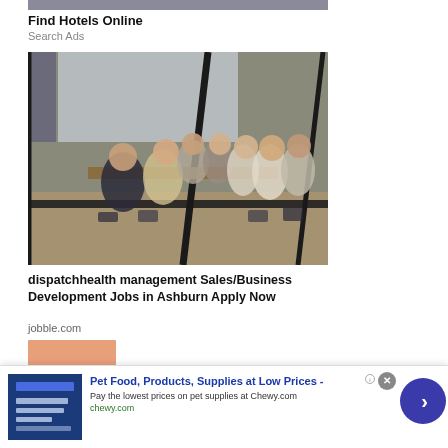[Figure (photo): Cropped top of a photo, partially visible]
Find Hotels Online
Search Ads
[Figure (photo): Business meeting photo: group of people sitting around a conference table in a glass-walled room, viewed from outside through glass panels]
dispatchhealth management Sales/Business Development Jobs in Ashburn Apply Now
jobble.com
[Figure (photo): Bottom partially visible orange/peach colored image]
[Figure (infographic): Advertisement banner: Pet Food, Products, Supplies at Low Prices - Chewy.com. Pay the lowest prices on pet supplies at Chewy.com. chewy.com. Blue logo on left, arrow button on right.]